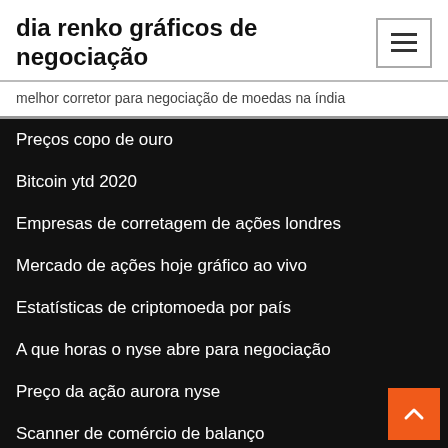dia renko gráficos de negociação
melhor corretor para negociação de moedas na índia
Preços copo de ouro
Bitcoin ytd 2020
Empresas de corretagem de ações londres
Mercado de ações hoje gráfico ao vivo
Estatísticas de criptomoeda por país
A que horas o nyse abre para negociação
Preço da ação aurora nyse
Scanner de comércio de balanço
Cotação da ação mkl
Investindo livros iniciantes